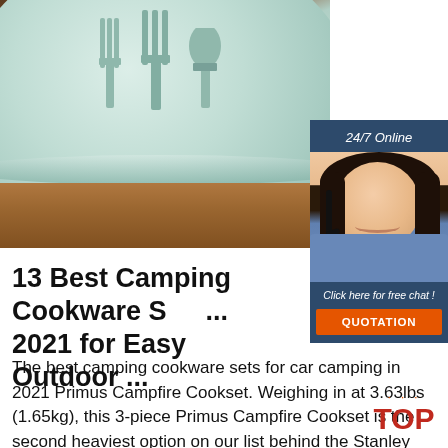[Figure (photo): Photo of a light green/mint camping cookware bowl with fork and spoon utensils inside, sitting on a wooden surface with dark background]
[Figure (infographic): Ad banner with '24/7 Online' header, photo of woman with headset smiling, text 'Click here for free chat!' and orange QUOTATION button]
13 Best Camping Cookware Sets 2021 for Easy Outdoor ...
The best camping cookware sets for car camping in 2021 Primus Campfire Cookset. Weighing in at 3.63lbs (1.65kg), this 3-piece Primus Campfire Cookset is the second heaviest option on our list behind the Stanley Adventure
[Figure (logo): TOP logo with orange dots above and red TOP text]